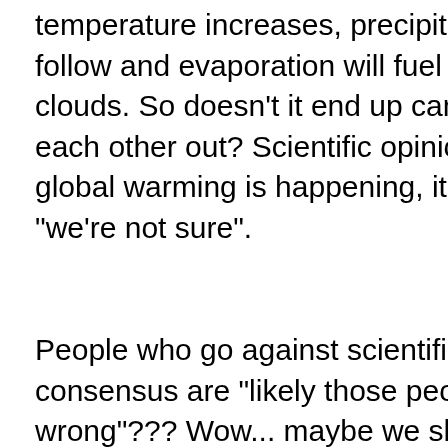temperature increases, precipitations will follow and evaporation will fuel the clouds. So doesn't it end up canceling each other out? Scientific opinion is global warming is happening, it is not, or "we're not sure".
People who go against scientific consensus are "likely those people are wrong"??? Wow... maybe we should look at Universities and how many students walk out with a degree and have the cognitive qualities to truly embrace anything by pursuing research instead of just quoting their